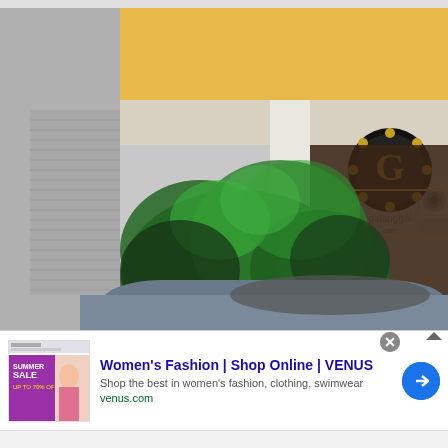[Figure (photo): Exterior street-level photo of a shop called 'Galanggal' (with a circular logo featuring the letter G on the facade). A yellow upper building face, white column, air conditioning unit, lush green tropical plants in front of the storefront, an adjacent shuttered shopfront with a yellow for-sale sign reading 'FOR SALE/RE... HENG 016-567...' and a partial car roof visible in the foreground.]
[Figure (screenshot): Advertisement banner for VENUS women's fashion. Shows thumbnail with 'SUMMER SALE UP TO 70% OFF' and a woman in pink. Title: Women's Fashion | Shop Online | VENUS. Description: Shop the best in women's fashion, clothing, swimwear. URL: venus.com. Has a blue circular arrow button on right, and a close (X) button and info arrow icon at top right.]